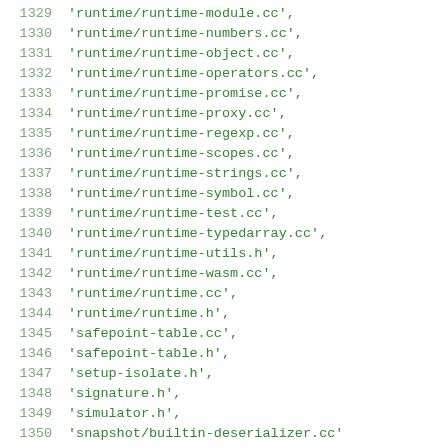1329  'runtime/runtime-module.cc',
1330  'runtime/runtime-numbers.cc',
1331  'runtime/runtime-object.cc',
1332  'runtime/runtime-operators.cc',
1333  'runtime/runtime-promise.cc',
1334  'runtime/runtime-proxy.cc',
1335  'runtime/runtime-regexp.cc',
1336  'runtime/runtime-scopes.cc',
1337  'runtime/runtime-strings.cc',
1338  'runtime/runtime-symbol.cc',
1339  'runtime/runtime-test.cc',
1340  'runtime/runtime-typedarray.cc',
1341  'runtime/runtime-utils.h',
1342  'runtime/runtime-wasm.cc',
1343  'runtime/runtime.cc',
1344  'runtime/runtime.h',
1345  'safepoint-table.cc',
1346  'safepoint-table.h',
1347  'setup-isolate.h',
1348  'signature.h',
1349  'simulator.h',
1350  'snapshot/builtin-deserializer.cc'